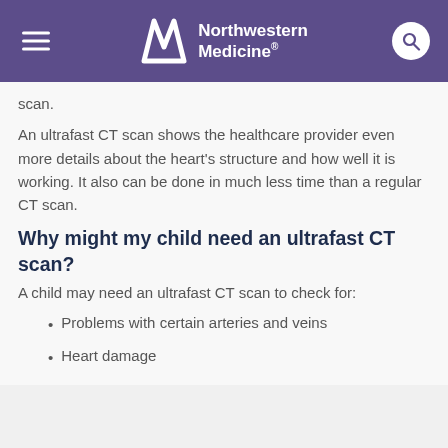Northwestern Medicine
scan.
An ultrafast CT scan shows the healthcare provider even more details about the heart’s structure and how well it is working. It also can be done in much less time than a regular CT scan.
Why might my child need an ultrafast CT scan?
A child may need an ultrafast CT scan to check for:
Problems with certain arteries and veins
Heart damage